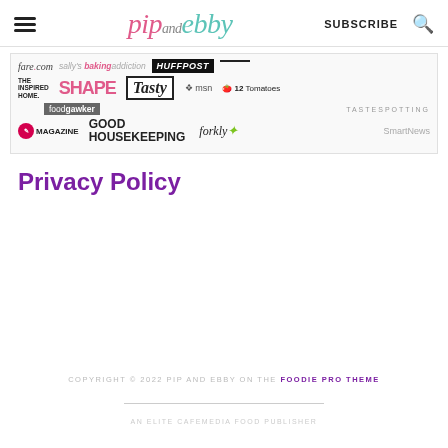pip and ebby — SUBSCRIBE
[Figure (logo): Media logos banner including: fare.com, sally's baking addiction, HUFFPOST, THE INSPIRED HOME, SHAPE, TASTY, msn, 12 Tomatoes, foodgawker, TasteSpotting, Best of Life Magazine, GOOD HOUSEKEEPING, forkly, SmartNews]
Privacy Policy
COPYRIGHT © 2022 PIP AND EBBY ON THE FOODIE PRO THEME
AN ELITE CAFEMEDIA FOOD PUBLISHER